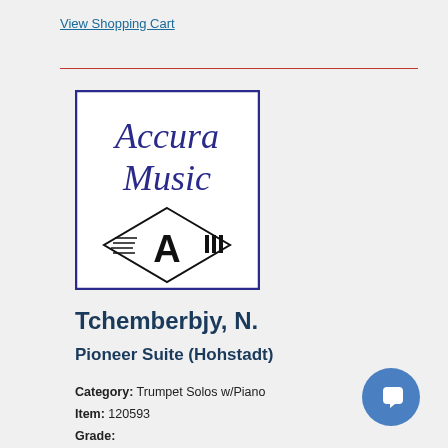View Shopping Cart
[Figure (logo): Accura Music logo with diamond-shaped emblem containing stylized letter A with musical lines]
Tchemberbjy, N.
Pioneer Suite (Hohstadt)
Category: Trumpet Solos w/Piano
Item: 120593
Grade: